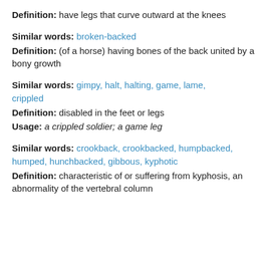Definition: have legs that curve outward at the knees
Similar words: broken-backed
Definition: (of a horse) having bones of the back united by a bony growth
Similar words: gimpy, halt, halting, game, lame, crippled
Definition: disabled in the feet or legs
Usage: a crippled soldier; a game leg
Similar words: crookback, crookbacked, humpbacked, humped, hunchbacked, gibbous, kyphotic
Definition: characteristic of or suffering from kyphosis, an abnormality of the vertebral column